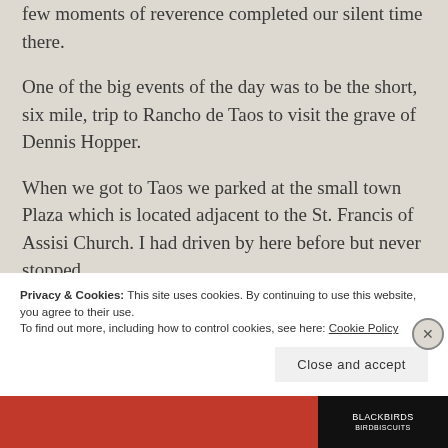few moments of reverence completed our silent time there.
One of the big events of the day was to be the short, six mile, trip to Rancho de Taos to visit the grave of Dennis Hopper.
When we got to Taos we parked at the small town Plaza which is located adjacent to the St. Francis of Assisi Church. I had driven by here before but never stopped.
Privacy & Cookies: This site uses cookies. By continuing to use this website, you agree to their use. To find out more, including how to control cookies, see here: Cookie Policy
Close and accept